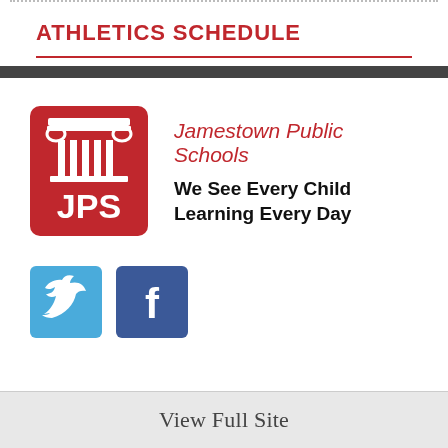ATHLETICS SCHEDULE
[Figure (logo): Jamestown Public Schools logo — red rounded rectangle with white column capital above 'JPS' text]
Jamestown Public Schools
We See Every Child Learning Every Day
[Figure (logo): Twitter bird icon on blue square button]
[Figure (logo): Facebook 'f' icon on dark blue square button]
View Full Site